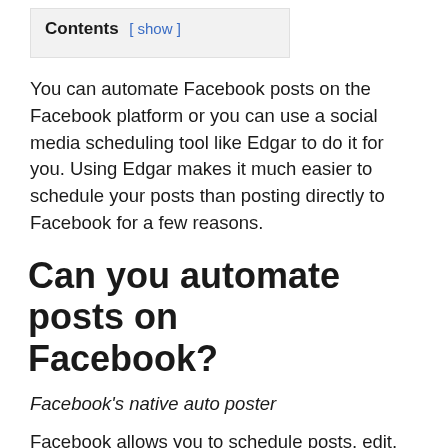Contents [ show ]
You can automate Facebook posts on the Facebook platform or you can use a social media scheduling tool like Edgar to do it for you. Using Edgar makes it much easier to schedule your posts than posting directly to Facebook for a few reasons.
Can you automate posts on Facebook?
Facebook's native auto poster
Facebook allows you to schedule posts, edit, reschedule, or delete a scheduled post. It's